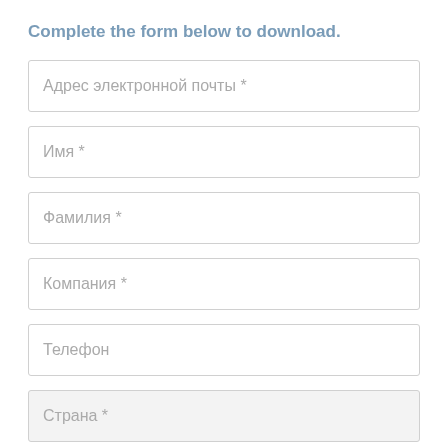Complete the form below to download.
Адрес электронной почты *
Имя *
Фамилия *
Компания *
Телефон
Страна *
Выберите, пожалуйста, интересующие отросли